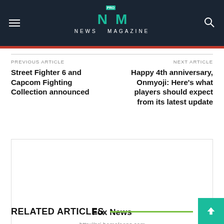NEWS MAGAZINE
PREVIOUS ARTICLE
Street Fighter 6 and Capcom Fighting Collection announced
NEXT ARTICLE
Happy 4th anniversary, Onmyoji: Here's what players should expect from its latest update
[Figure (other): Advertisement box with Fox News title and URL http://nri-homeloans.com]
RELATED ARTICLES